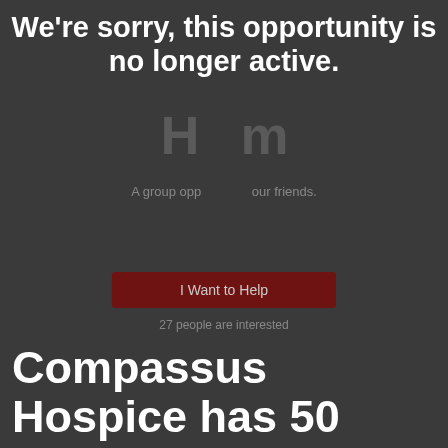We're sorry, this opportunity is no longer active.
A group opportunity to volunteer with your friends.
I Want to Help
27 people are interested
Compassus Hospice has 50 more opportunities, please check them out.
Are you interested in volunteering in a remote position from your home? There is a great need for caring individuals to make calls to members of the p is an opportunity to call on family members who are grieving the loss of their loved one. A phone call from their Hospice may give
See Opportunities